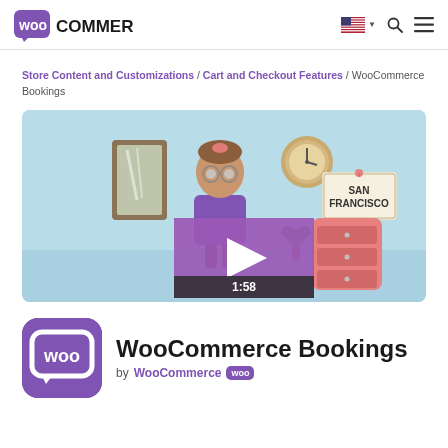WooCommerce header with logo, flag/language selector, search, and menu icons
Store Content and Customizations / Cart and Checkout Features / WooCommerce Bookings
[Figure (screenshot): Video thumbnail showing a WooCommerce Bookings animated promotional video with a cartoon character in front of a San Francisco sign, a clock, mirror, and dresser. A purple play button overlay shows duration 1:58.]
WooCommerce Bookings
by WooCommerce [woo badge]